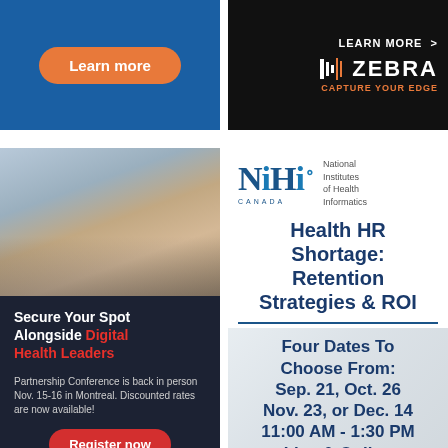[Figure (illustration): Top-left advertisement banner with blue background and orange 'Learn more' button]
[Figure (logo): Top-right Zebra Technologies advertisement with 'LEARN MORE >' link, Zebra logo with orange 'CAPTURE YOUR EDGE' tagline on black background]
[Figure (photo): Audience seated in chairs at a conference, mostly women visible, warm yellow/orange chairs]
Secure Your Spot Alongside Digital Health Leaders
Partnership Conference is back in person Nov. 15-16 in Montreal. Discounted rates are now available!
Register now
[Figure (logo): NiHi Canada — National Institutes of Health Informatics logo in dark blue]
Health HR Shortage: Retention Strategies & ROI
Four Dates To Choose From: Sep. 21, Oct. 26 Nov. 23, or Dec. 14 11:00 AM - 1:30 PM Live & Online